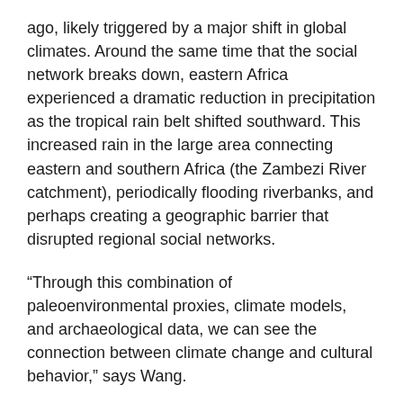ago, likely triggered by a major shift in global climates. Around the same time that the social network breaks down, eastern Africa experienced a dramatic reduction in precipitation as the tropical rain belt shifted southward. This increased rain in the large area connecting eastern and southern Africa (the Zambezi River catchment), periodically flooding riverbanks, and perhaps creating a geographic barrier that disrupted regional social networks.
“Through this combination of paleoenvironmental proxies, climate models, and archaeological data, we can see the connection between climate change and cultural behavior,” says Wang.
Weaving a story with beads